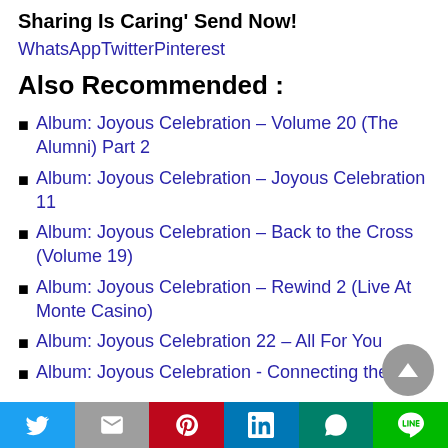Sharing Is Caring' Send Now!
WhatsAppTwitterPinterest
Also Recommended :
Album: Joyous Celebration – Volume 20 (The Alumni) Part 2
Album: Joyous Celebration – Joyous Celebration 11
Album: Joyous Celebration – Back to the Cross (Volume 19)
Album: Joyous Celebration – Rewind 2 (Live At Monte Casino)
Album: Joyous Celebration 22 – All For You
Album: Joyous Celebration - Connecting the
Twitter | Gmail | Pinterest | LinkedIn | WhatsApp | Line